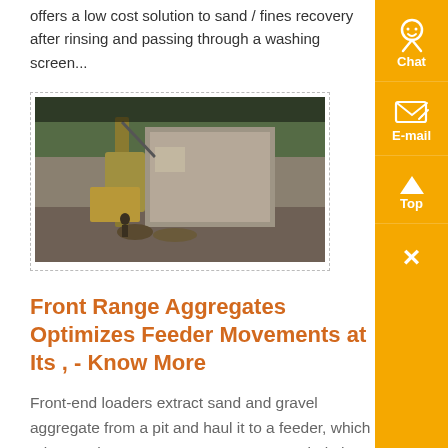offers a low cost solution to sand / fines recovery after rinsing and passing through a washing screen...
[Figure (photo): Photo of construction/mining equipment, possibly a feeder or loader machine at a site with trees in the background.]
Front Range Aggregates Optimizes Feeder Movements at Its , - Know More
Front-end loaders extract sand and gravel aggregate from a pit and haul it to a feeder, which releases the aggregate onto a conveyor belt that is connected to a stockpile the material is subsequently distributed to a processing plant As mining progresses, the mining frontier moves farther away from the feeder, increasing loader cycle time In turn, plant managers add loaders to maintain ....